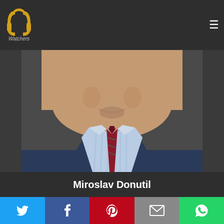[Figure (logo): PP Watchers logo - golden stylized headphones/PP icon with text 'Watchers' below]
[Figure (photo): Close-up photo of Miroslav Donutil, an older man in a dark suit with a striped blue shirt and dark red/maroon tie, photographed from chin/neck level up]
Miroslav Donutil
1 user is watching this movie right now!
[Figure (infographic): Social share bar with Twitter (blue), Facebook (dark blue), Pinterest (red), Email (grey), WhatsApp (green) buttons]